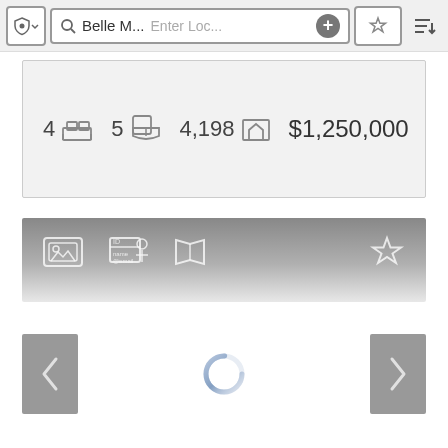[Figure (screenshot): Mobile app toolbar with shield/location icon, search bar showing 'Belle M...' and 'Enter Loc...' placeholder with plus button, star/favorite button, and sort icon]
4  [bed icon]  5  [bath icon]  4,198  [sqft icon]  $1,250,000
[Figure (screenshot): Property detail action bar with gradient background showing photo gallery icon, contact card icon, map icon, and star/favorite icon]
[Figure (screenshot): Navigation with left arrow button, loading spinner circle, and right arrow button]